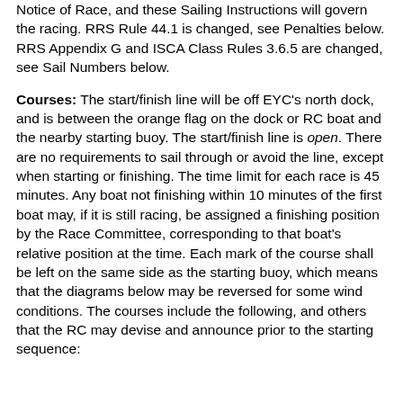Notice of Race, and these Sailing Instructions will govern the racing. RRS Rule 44.1 is changed, see Penalties below. RRS Appendix G and ISCA Class Rules 3.6.5 are changed, see Sail Numbers below.
Courses: The start/finish line will be off EYC's north dock, and is between the orange flag on the dock or RC boat and the nearby starting buoy. The start/finish line is open. There are no requirements to sail through or avoid the line, except when starting or finishing. The time limit for each race is 45 minutes. Any boat not finishing within 10 minutes of the first boat may, if it is still racing, be assigned a finishing position by the Race Committee, corresponding to that boat's relative position at the time. Each mark of the course shall be left on the same side as the starting buoy, which means that the diagrams below may be reversed for some wind conditions. The courses include the following, and others that the RC may devise and announce prior to the starting sequence: